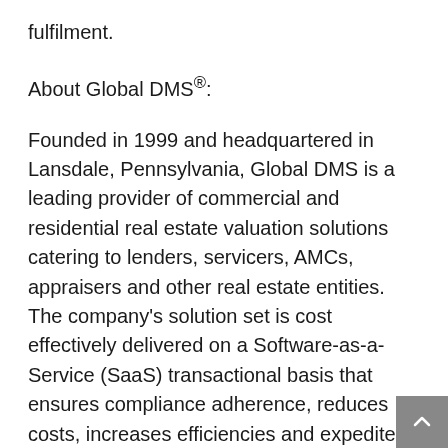fulfilment.
About Global DMS(R):
Founded in 1999 and headquartered in Lansdale, Pennsylvania, Global DMS is a leading provider of commercial and residential real estate valuation solutions catering to lenders, servicers, AMCs, appraisers and other real estate entities. The company's solution set is cost effectively delivered on a Software-as-a-Service (SaaS) transactional basis that ensures compliance adherence, reduces costs, increases efficiencies and expedites the entire real estate appraisal process. The product line-up includes its eTrac(R) valuation management platform, eTrac Web Forms,